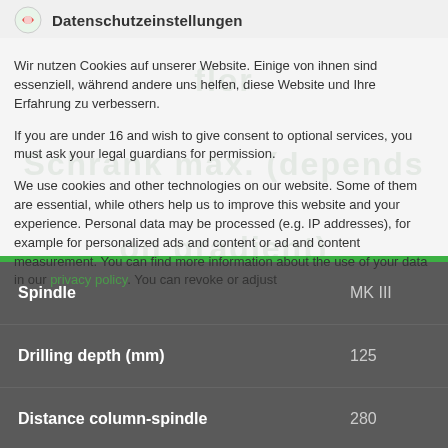Datenschutzeinstellungen
Wir nutzen Cookies auf unserer Website. Einige von ihnen sind essenziell, während andere uns helfen, diese Website und Ihre Erfahrung zu verbessern.
If you are under 16 and wish to give consent to optional services, you must ask your legal guardians for permission.
We use cookies and other technologies on our website. Some of them are essential, while others help us to improve this website and your experience. Personal data may be processed (e.g. IP addresses), for example for personalized ads and content or ad and content measurement. You can find more information about the use of your data in our privacy policy. You can revoke or adjust
Essenziell
Externe Medien
|  |  |
| --- | --- |
| Spindle | MK III |
| Drilling depth (mm) | 125 |
| Distance column-spindle | 280 |